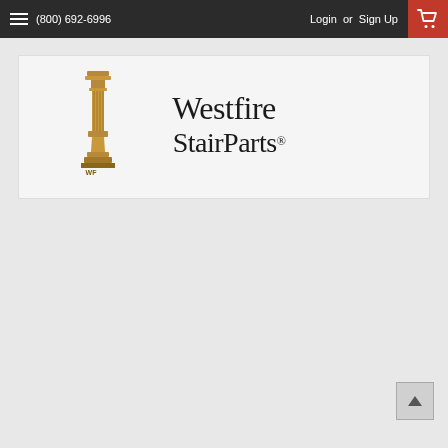(800) 692-6996  Login or Sign Up
[Figure (logo): Westfire StairParts logo with a wooden newel post on the left and 'Westfire StairParts®' text on the right in serif font]